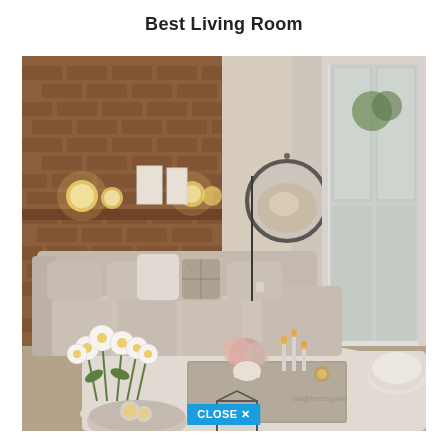Best Living Room
[Figure (photo): Cozy living room interior with exposed brick wall, warm glowing lights on a wooden shelf, a large light-colored sectional sofa with decorative pillows, a round mirror on the wall, a coffee table with flowers and candles, white fluffy rug, glass door leading to an outdoor balcony, a furry round pouf, and white daisy flowers in a pot on a small round side table in the foreground. A 'CLOSE X' button overlay appears at the bottom center.]